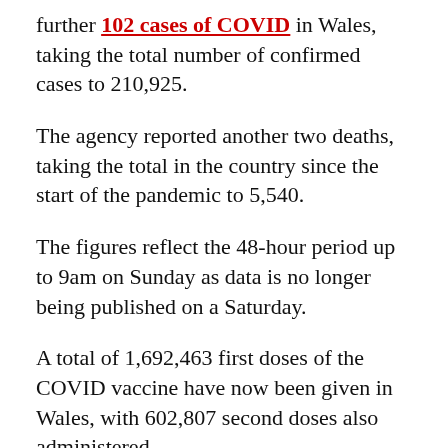further 102 cases of COVID in Wales, taking the total number of confirmed cases to 210,925.
The agency reported another two deaths, taking the total in the country since the start of the pandemic to 5,540.
The figures reflect the 48-hour period up to 9am on Sunday as data is no longer being published on a Saturday.
A total of 1,692,463 first doses of the COVID vaccine have now been given in Wales, with 602,807 second doses also administered.
This article was originally published by Sky.com. Read the original article here.